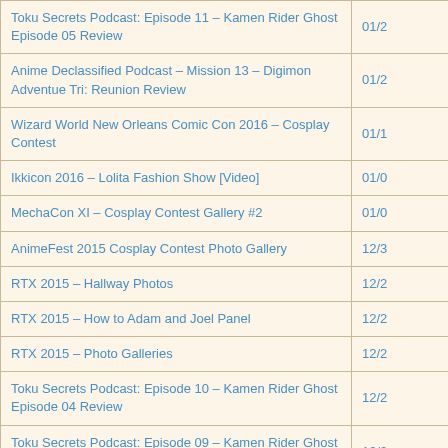| Title | Date |
| --- | --- |
| Toku Secrets Podcast: Episode 11 – Kamen Rider Ghost Episode 05 Review | 01/2 |
| Anime Declassified Podcast – Mission 13 – Digimon Adventue Tri: Reunion Review | 01/2 |
| Wizard World New Orleans Comic Con 2016 – Cosplay Contest | 01/1 |
| Ikkicon 2016 – Lolita Fashion Show [Video] | 01/0 |
| MechaCon XI – Cosplay Contest Gallery #2 | 01/0 |
| AnimeFest 2015 Cosplay Contest Photo Gallery | 12/3 |
| RTX 2015 – Hallway Photos | 12/2 |
| RTX 2015 – How to Adam and Joel Panel | 12/2 |
| RTX 2015 – Photo Galleries | 12/2 |
| Toku Secrets Podcast: Episode 10 – Kamen Rider Ghost Episode 04 Review | 12/2 |
| Toku Secrets Podcast: Episode 09 – Kamen Rider Ghost Episode 03 Review | 12/2 |
| RTX 2015 Review | 12/2 |